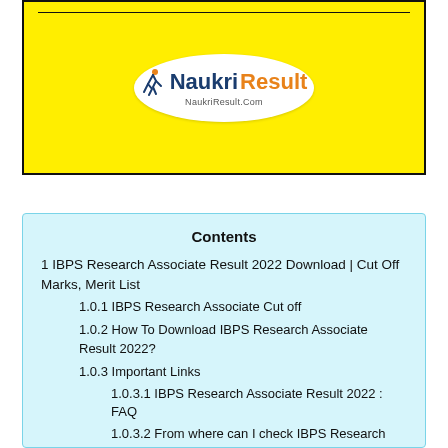[Figure (logo): NaukriResult logo on yellow banner background with oval white logo showing running figure and text NaukriResult NaukriResult.Com]
Contents
1 IBPS Research Associate Result 2022 Download | Cut Off Marks, Merit List
1.0.1 IBPS Research Associate Cut off
1.0.2 How To Download IBPS Research Associate Result 2022?
1.0.3 Important Links
1.0.3.1 IBPS Research Associate Result 2022 : FAQ
1.0.3.2 From where can I check IBPS Research Associate Result?